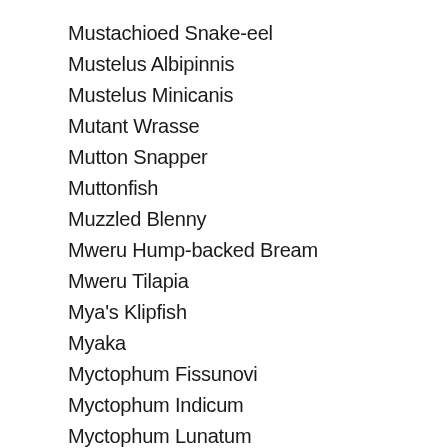Mustachioed Snake-eel
Mustelus Albipinnis
Mustelus Minicanis
Mutant Wrasse
Mutton Snapper
Muttonfish
Muzzled Blenny
Mweru Hump-backed Bream
Mweru Tilapia
Mya's Klipfish
Myaka
Myctophum Fissunovi
Myctophum Indicum
Myctophum Lunatum